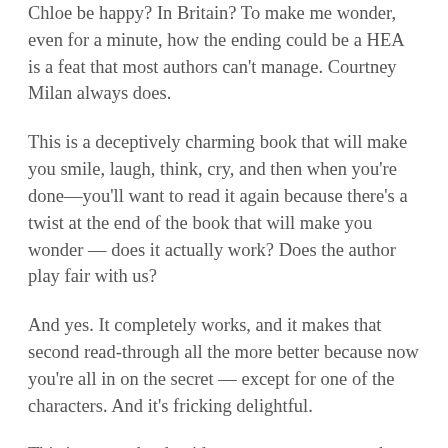Chloe be happy? In Britain? To make me wonder, even for a minute, how the ending could be a HEA is a feat that most authors can't manage. Courtney Milan always does.
This is a deceptively charming book that will make you smile, laugh, think, cry, and then when you're done—you'll want to read it again because there's a twist at the end of the book that will make you wonder — does it actually work? Does the author play fair with us?
And yes. It completely works, and it makes that second read-through all the more better because now you're all in on the secret — except for one of the characters. And it's fricking delightful.
This is a great book with a gorgeous romance, three-dimensional characters, and a world that feels so real that I'm legit mad that I can't go to Wedgeford, taste the